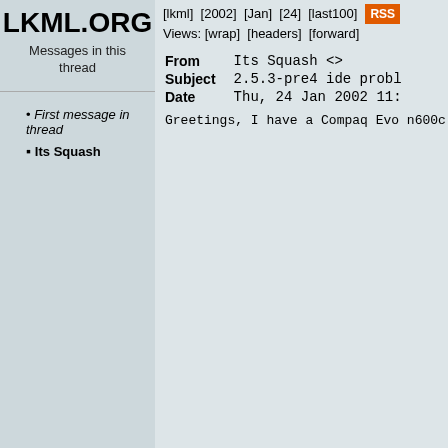LKML.ORG
Messages in this thread
First message in thread
Its Squash
[lkml] [2002] [Jan] [24] [last100] RSS Views: [wrap] [headers] [forward]
| Field | Value |
| --- | --- |
| From | Its Squash <> |
| Subject | 2.5.3-pre4 ide probl |
| Date | Thu, 24 Jan 2002 11: |
Greetings,

I have a Compaq Evo n600c laptop, wh CMD646 IDE on my docking station. I while. Today I tried 2.5.3-pre4 and

The IDE part of dmesg from 2.5.1 say

ide: Assuming 33MHz system bus speed
ICH3: IDE controller on PCI slot 00:
PCI: Device 00:1f.1 not available be
ICH3: chipset revision 1
ICH3: not 100% native mode: will pro
     ide0: BM-DMA at 0x5060-0x5067, B
     ide1: BM-DMA at 0x5068-0x506f, B
CMD646: IDE controller on PCI slot 0
CMD646: chipset revision 7
CMD646: 100% native mode on irq 11
     ide2: BM-DMA at 0x2040-0x2047, B
     ide3: BM-DMA at 0x2048-0x204f, B
hda: TOSHIBA MK3018GAP, ATA DISK dr